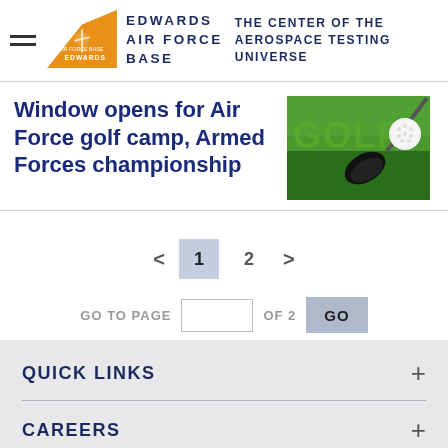EDWARDS AIR FORCE BASE — THE CENTER OF THE AEROSPACE TESTING UNIVERSE
Window opens for Air Force golf camp, Armed Forces championship
[Figure (photo): Golf image showing the word GOLF in green with a golf club driver and golf ball on green grass background]
< 1 2 > GO TO PAGE [input] OF 2 GO
QUICK LINKS
CAREERS